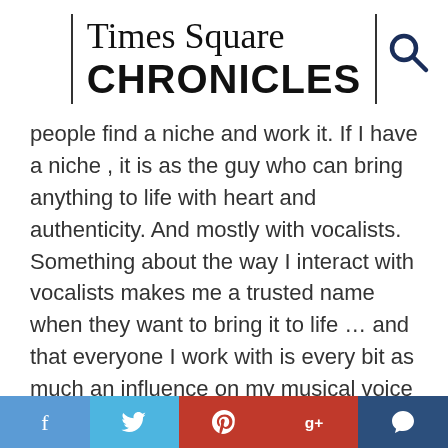Times Square CHRONICLES
people find a niche and work it.  If I have a 'niche', it is as the guy who can bring anything to life with heart and authenticity.  And mostly with vocalists.  Something about the way I interact with vocalists makes me a trusted name when they want to bring it to life … and that everyone I work with is every bit as much an influence on my musical voice as George Benson, Duane Allman, or Eddie Van Halen."
Sean's first guitar arrived on his eleventh birthday. Within six months, he had a weekly theater engagement in Bridgeport, CT. After high school bands and studies with Brian Keane and Sal Salvador [Stan Kenton Band], Harkness studied at the Berklee College of Music in
[Figure (other): Social media share buttons bar: Facebook (blue), Twitter (light blue), Pinterest (red), Google+ (red), Comment (dark blue)]